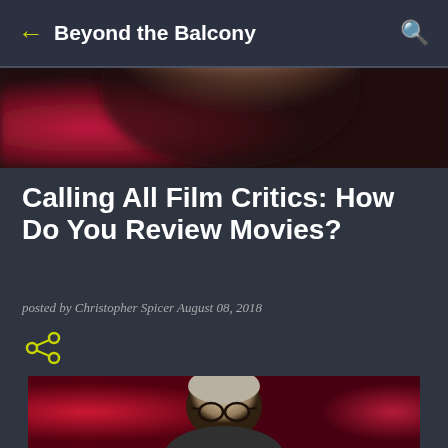Beyond the Balcony
[Figure (photo): Blurred top banner image with dark and warm tones, partially showing a person's head]
Calling All Film Critics: How Do You Review Movies?
posted by Christopher Spicer August 08, 2018
[Figure (other): Share icon (network/share symbol)]
[Figure (photo): Photo of a man with gray hair and glasses in a dark cinema setting with red lighting in the background]